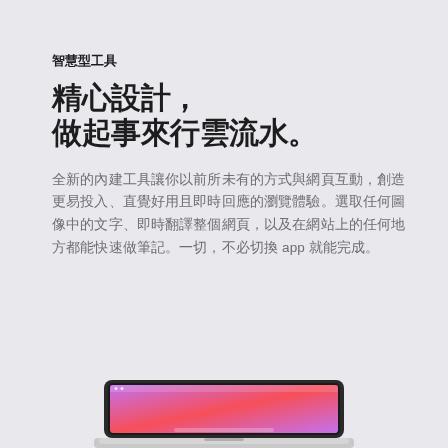智慧型工具
精心設計，
做起事來行雲流水。
全新的內建工具讓你以前所未有的方式與網頁互動，創造更易投入、直覺好用且即時回應的瀏覽體驗。選取任何圖像中的文字、即時翻譯整個網頁，以及在網站上的任何地方都能快速做筆記。一切，不必切換 app 就能完成。
[Figure (screenshot): Partial screenshot of a MacBook showing a colorful macOS desktop with a pink/purple wallpaper, partially visible at the bottom of the page]